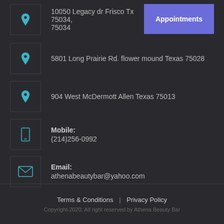10050 Legacy dr Frisco Tx 75034, 75034
5801 Long Prairie Rd. flower mound Texas 75028
904 West McDermott Allen Texas 75013
Mobile: (214)256-0992
Email: athenabeautybar@yahoo.com
Terms & Conditions | Privacy Policy
Copyright-2020: All right reserved by Athena Beauty Bar